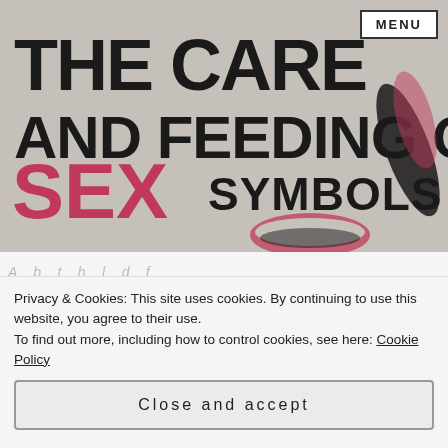[Figure (illustration): Blog header image with distressed stamp-style text reading 'THE CARE AND FEEDING OF SEX SYMBOLS' with pink lips and figure silhouette illustration on a grey background]
MENU
Privacy & Cookies: This site uses cookies. By continuing to use this website, you agree to their use.
To find out more, including how to control cookies, see here: Cookie Policy
Close and accept